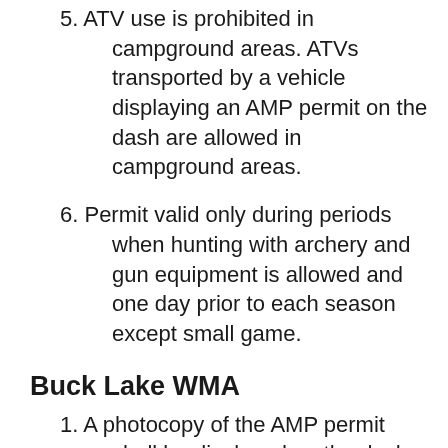5. ATV use is prohibited in campground areas. ATVs transported by a vehicle displaying an AMP permit on the dash are allowed in campground areas.
6. Permit valid only during periods when hunting with archery and gun equipment is allowed and one day prior to each season except small game.
Buck Lake WMA
1. A photocopy of the AMP permit shall be displayed on the dash of the vehicle used to transport the ATV.